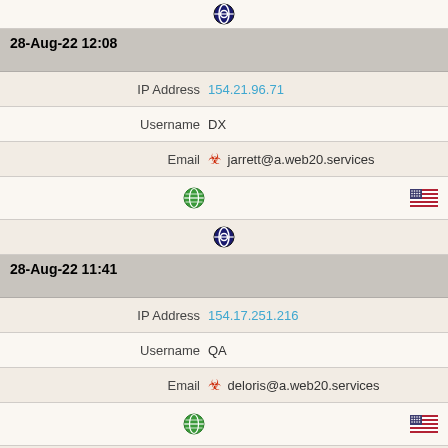[Figure (other): Opera browser icon at top]
28-Aug-22 12:08
| Field | Value |
| --- | --- |
| IP Address | 154.21.96.71 |
| Username | DX |
| Email | jarrett@a.web20.services |
[Figure (other): Globe icon and US flag icon]
[Figure (other): Opera browser icon]
28-Aug-22 11:41
| Field | Value |
| --- | --- |
| IP Address | 154.17.251.216 |
| Username | QA |
| Email | deloris@a.web20.services |
[Figure (other): Globe icon and US flag icon]
[Figure (other): Opera browser icon]
28-Aug-22 10:53
| Field | Value |
| --- | --- |
| IP Address | 154.12.132.143 |
| Username | RL |
| Email | deloris@a.web20.services |